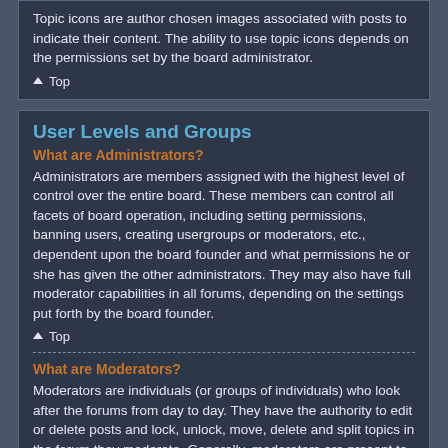Topic icons are author chosen images associated with posts to indicate their content. The ability to use topic icons depends on the permissions set by the board administrator.
▲ Top
User Levels and Groups
What are Administrators?
Administrators are members assigned with the highest level of control over the entire board. These members can control all facets of board operation, including setting permissions, banning users, creating usergroups or moderators, etc., dependent upon the board founder and what permissions he or she has given the other administrators. They may also have full moderator capabilities in all forums, depending on the settings put forth by the board founder.
▲ Top
What are Moderators?
Moderators are individuals (or groups of individuals) who look after the forums from day to day. They have the authority to edit or delete posts and lock, unlock, move, delete and split topics in the forum they moderate. Generally, moderators are present to